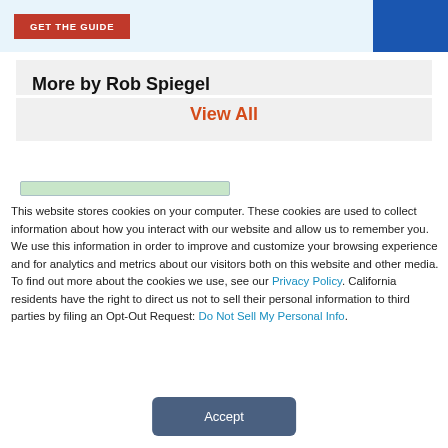[Figure (other): Top banner with a red GET THE GUIDE button and blue decorative element on a light blue background]
More by Rob Spiegel
View All
[Figure (other): Green tab/bar element partially visible]
This website stores cookies on your computer. These cookies are used to collect information about how you interact with our website and allow us to remember you. We use this information in order to improve and customize your browsing experience and for analytics and metrics about our visitors both on this website and other media. To find out more about the cookies we use, see our Privacy Policy. California residents have the right to direct us not to sell their personal information to third parties by filing an Opt-Out Request: Do Not Sell My Personal Info.
Accept